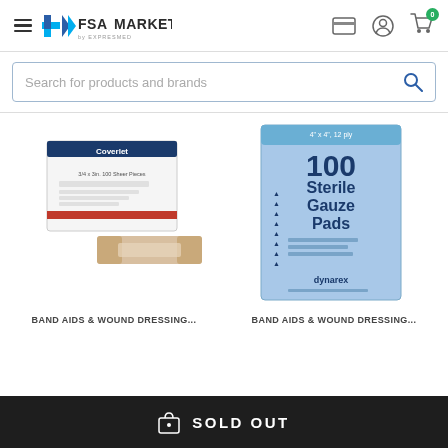FSA MARKET by EXPRESMED — navigation header with hamburger menu, card icon, account icon, cart icon (0 items)
Search for products and brands
[Figure (photo): Coverlet brand adhesive bandage box with a bandage strip next to it]
[Figure (photo): Dynarex 100 Sterile Gauze Pads box, blue packaging, 4x4 inch, 12 ply]
BAND AIDS & WOUND DRESSING...
BAND AIDS & WOUND DRESSING...
SOLD OUT